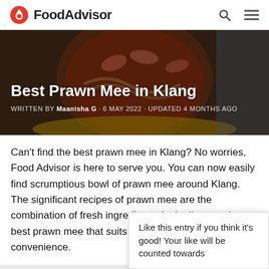FoodAdvisor
[Figure (photo): Hero image of a prawn mee bowl with prawns and noodles in red broth in a yellow bowl, with blue background overlay]
Best Prawn Mee in Klang
WRITTEN BY Maanisha G · 6 MAY 2022 · Updated 4 months ago
Can't find the best prawn mee in Klang? No worries, Food Advisor is here to serve you. You can now easily find scrumptious bowl of prawn mee around Klang. The significant recipes of prawn mee are the combination of fresh ingredients. Let's discover the best prawn mee that suits according to your convenience.
Rankings of all participants as visible on our listings are solely voted by you, our beloved readers. With that said, we... please vote for your preferred participants in...
Like this entry if you think it's good! Your like will be counted towards